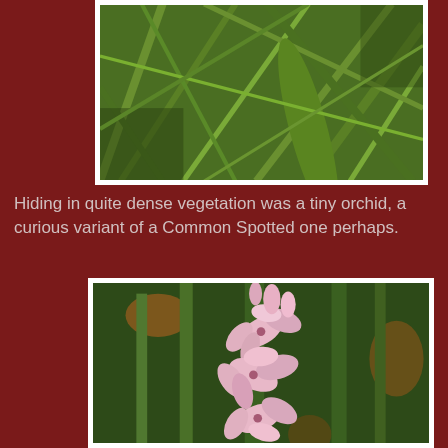[Figure (photo): Close-up photograph of dense green grass and vegetation, with overlapping blades and leaves in various shades of green.]
Hiding in quite dense vegetation was a tiny orchid, a curious variant of a Common Spotted one perhaps.
[Figure (photo): Close-up photograph of a small pink orchid flower with multiple petals and buds, surrounded by green vegetation stems.]